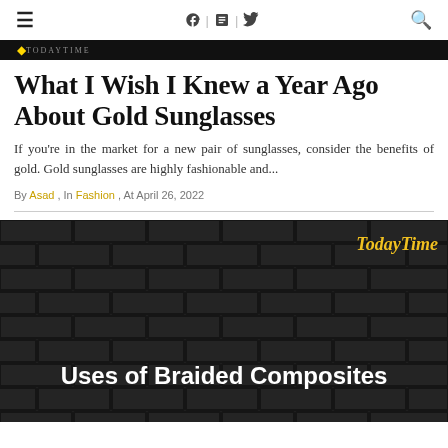≡  f | in | 🐦  🔍
What I Wish I Knew a Year Ago About Gold Sunglasses
If you're in the market for a new pair of sunglasses, consider the benefits of gold. Gold sunglasses are highly fashionable and...
By Asad , In Fashion , At April 26, 2022
[Figure (photo): Dark brick wall background with 'TodayTime' logo in gold gothic font at top right, and white bold text 'Uses of Braided Composites' centered near bottom]